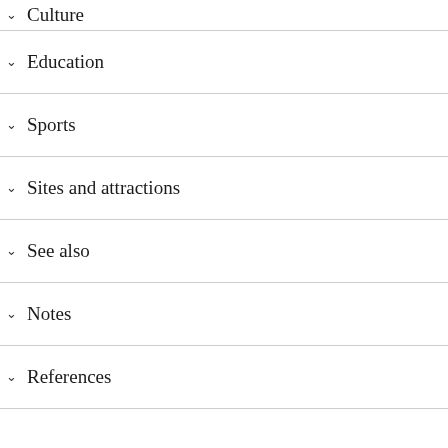Culture
Education
Sports
Sites and attractions
See also
Notes
References